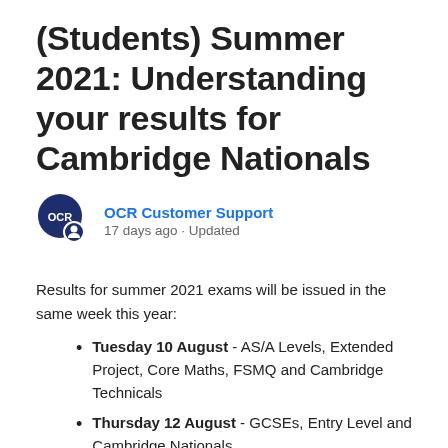(Students) Summer 2021: Understanding your results for Cambridge Nationals
OCR Customer Support
17 days ago · Updated
Results for summer 2021 exams will be issued in the same week this year:
Tuesday 10 August - AS/A Levels, Extended Project, Core Maths, FSMQ and Cambridge Technicals
Thursday 12 August - GCSEs, Entry Level and Cambridge Nationals